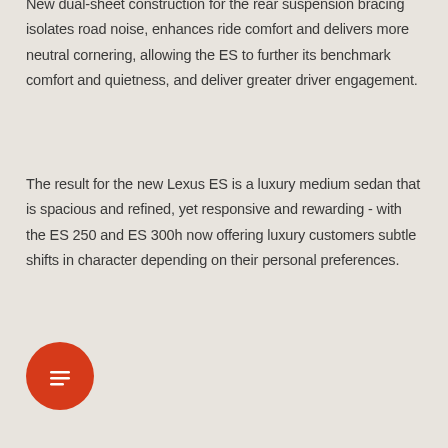New dual-sheet construction for the rear suspension bracing isolates road noise, enhances ride comfort and delivers more neutral cornering, allowing the ES to further its benchmark comfort and quietness, and deliver greater driver engagement.
The result for the new Lexus ES is a luxury medium sedan that is spacious and refined, yet responsive and rewarding - with the ES 250 and ES 300h now offering luxury customers subtle shifts in character depending on their personal preferences.
[Figure (other): Red circular chat/message button icon with three horizontal lines representing a menu or message symbol]